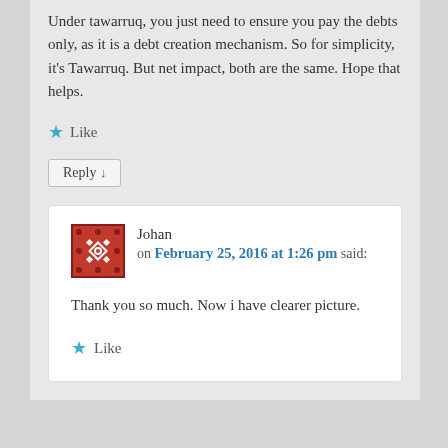Under tawarruq, you just need to ensure you pay the debts only, as it is a debt creation mechanism. So for simplicity, it's Tawarruq. But net impact, both are the same. Hope that helps.
Like
Reply ↓
Johan on February 25, 2016 at 1:26 pm said:
Thank you so much. Now i have clearer picture.
Like